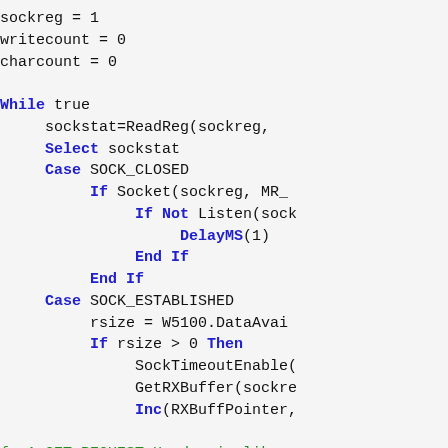sockreg = 1
writecount = 0
charcount = 0

While true
    sockstat=ReadReg(sockreg,
    Select sockstat
    Case SOCK_CLOSED
        If Socket(sockreg, MR_
            If Not Listen(sock
                DelayMS(1)
            End If
        End If
    Case SOCK_ESTABLISHED
        rsize = W5100.DataAvai
        If rsize > 0 Then
            SockTimeoutEnable(
            GetRXBuffer(sockre
            Inc(RXBuffPointer,

{  A GET REQUEST Header is lik

GET /index.html HTTP/1.1
Host: xxx.xxx.xxx.xxx
Keep-Alive: timeout=15
Connection: Keep-Alive
X-Forwarded-For: 192.168.10.1

.. then I search for "Connecti
Other types are xml tagged.
}